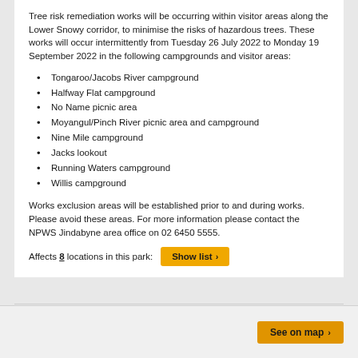Tree risk remediation works will be occurring within visitor areas along the Lower Snowy corridor, to minimise the risks of hazardous trees. These works will occur intermittently from Tuesday 26 July 2022 to Monday 19 September 2022 in the following campgrounds and visitor areas:
Tongaroo/Jacobs River campground
Halfway Flat campground
No Name picnic area
Moyangul/Pinch River picnic area and campground
Nine Mile campground
Jacks lookout
Running Waters campground
Willis campground
Works exclusion areas will be established prior to and during works. Please avoid these areas. For more information please contact the NPWS Jindabyne area office on 02 6450 5555.
Affects 8 locations in this park:  [Show list >]
See on map >